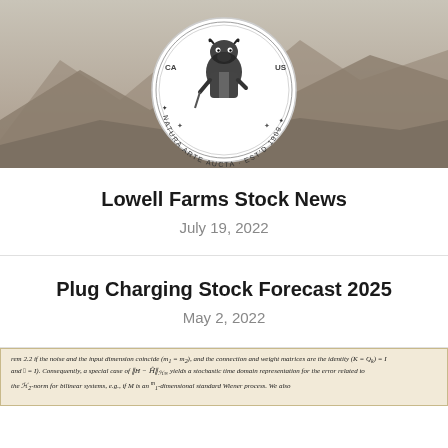[Figure (illustration): Lowell Farms logo medallion showing an anthropomorphic bull/cow in a vest holding a staff, surrounded by text 'NATURA ARTE AUCTA · EST'D 1909' with CA and US labels, set against a mountainous landscape background]
Lowell Farms Stock News
July 19, 2022
Plug Charging Stock Forecast 2025
May 2, 2022
[Figure (photo): Partial view of a mathematical/scientific document showing text about stochastic systems, Wiener process, and mathematical notation]